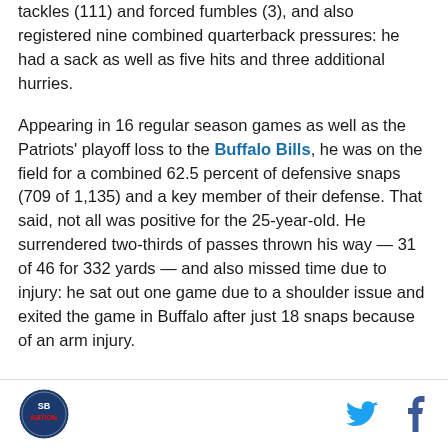tackles (111) and forced fumbles (3), and also registered nine combined quarterback pressures: he had a sack as well as five hits and three additional hurries.
Appearing in 16 regular season games as well as the Patriots' playoff loss to the Buffalo Bills, he was on the field for a combined 62.5 percent of defensive snaps (709 of 1,135) and a key member of their defense. That said, not all was positive for the 25-year-old. He surrendered two-thirds of passes thrown his way — 31 of 46 for 332 yards — and also missed time due to injury: he sat out one game due to a shoulder issue and exited the game in Buffalo after just 18 snaps because of an arm injury.
[logo] [twitter] [facebook]